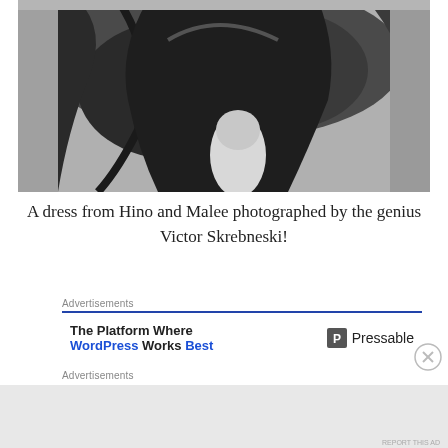[Figure (photo): Black and white photograph of a dress from Hino and Malee, showing draped dark fabric and a white arm/sleeve detail, photographed by Victor Skrebneski]
A dress from Hino and Malee photographed by the genius Victor Skrebneski!
Advertisements
[Figure (screenshot): Advertisement banner: The Platform Where WordPress Works Best — Pressable]
Advertisements